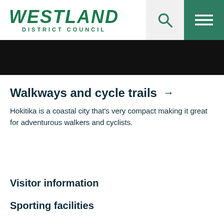WESTLAND DISTRICT COUNCIL
[Figure (screenshot): Dark hero banner image]
Walkways and cycle trails →
Hokitika is a coastal city that's very compact making it great for adventurous walkers and cyclists.
Visitor information
Sporting facilities